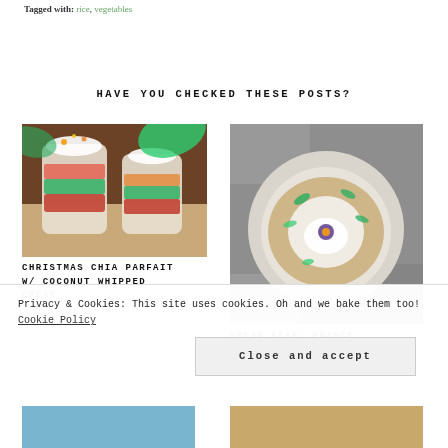Tagged with: rice, vegetables
HAVE YOU CHECKED THESE POSTS?
[Figure (photo): Colorful layered chia parfait glasses with plant leaves in background, vibrant red/green layers, topped with whipped cream and granola]
CHRISTMAS CHIA PARFAIT W/ COCONUT WHIPPED CREAM
[Figure (photo): Black and white overhead photo of a round bowl with granola, coconut cream and edible flower, surrounded by leaves on a stone surface]
SNEAK PEAK: FRANCE
Privacy & Cookies: This site uses cookies. Oh and we bake them too! Cookie Policy
Close and accept